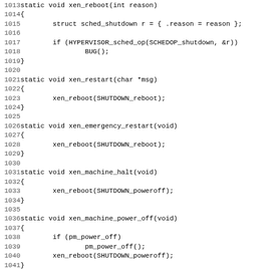Source code listing lines 1013-1044, showing C functions: xen_reboot, xen_restart, xen_emergency_restart, xen_machine_halt, xen_machine_power_off, xen_crash_shutdown